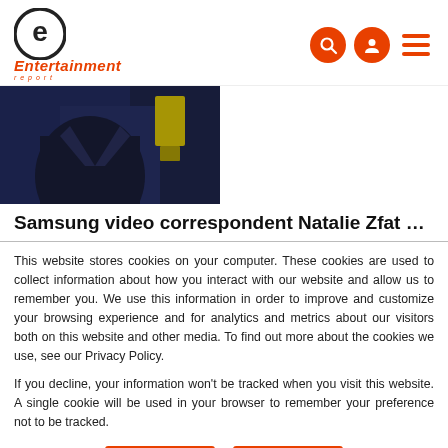Entertainment Report — logo and navigation icons
[Figure (photo): A photo showing a person in a dark suit jacket, cropped, dark blue background with a hint of yellow fabric visible]
Samsung video correspondent Natalie Zfat spoke to Jason
This website stores cookies on your computer. These cookies are used to collect information about how you interact with our website and allow us to remember you. We use this information in order to improve and customize your browsing experience and for analytics and metrics about our visitors both on this website and other media. To find out more about the cookies we use, see our Privacy Policy.
If you decline, your information won't be tracked when you visit this website. A single cookie will be used in your browser to remember your preference not to be tracked.
Accept | Decline